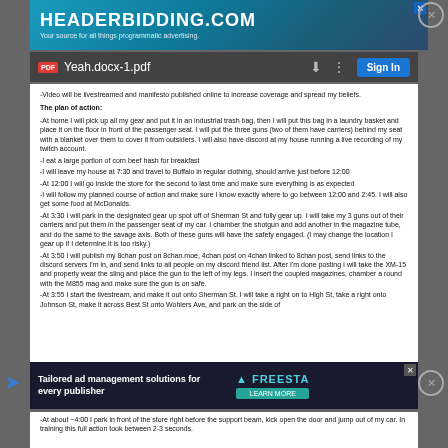[Figure (screenshot): Top advertisement banner for headerbidding.com with teal/blue gradient background]
[Figure (screenshot): PDF viewer toolbar showing Yeah.docx-1.pdf filename with Sign In button]
-Video will be livestreamed and manifesto published online to increase coverage and spread my beliefs
The plan of action:
-At home I will pick up all my gear and put it in an industrial trash bag, then I will put this bag in a laundry basket and place it on the floor in front of the passenger seat. I will put the three guns (two of them have carriers) behind my seat with a blanket over them to cover it from outsiders. I will also have discord at my house running a live recording of my twitch account.
-I eat a large portion of corn beef hash for breakfast
-I will leave my house at 7:30 and travel to Buffalo in regular clothing, should arrive just before 12:00
-At 12:00 I will go inside the store for the second to last time and make sure everything is as expected
-I will follow my planned course of action and make sure I know exactly where to go between 12:00 and 2:45. I will also get some food at McDonalds.
-At 3:30 I will park in the designated gear up spot off of Sherman St and fully gear up. I will take my 3 guns out of their carriers and put them in the passenger seat of my car. I chamber the shotgun and add another in the magazine tube, and do the same to the savage axis. Both of these guns will have the safety engaged. (I may change the location I gear up if I determine it is too risky.)
-At 3:50 I will publish my 8chan post on 8chan.moe, 4chan post on 4chan linked to 8chan post, send links to the discord servers I'm in, and send links to all people on my discord friend list. After I'm done posting I will take the XM-15 and properly wear the sling and place the gun to the left of my legs. I insert the coupled magazines, chamber a round with the M855 mag and make sure the gun is on safe.
-At 3:55 I start the livestream, and make it out onto Sherman St. I will take a right on to High St, take a right onto Johnson St, make it across Best St onto Wohlers Ave, and park on the side of
[Figure (screenshot): Bottom advertisement banner for Tailored ad management solutions for every publisher / Freestar]
-At about ~4:00 I park in front of the store right before the support beam, kick open the door and jump out of my car. In training this full action took between 2-3 seconds.